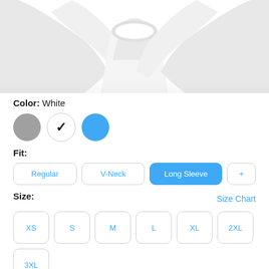[Figure (photo): Partial view of a white long-sleeve t-shirt showing the sleeves and collar area from above on a white background]
Color: White
[Figure (illustration): Three color swatches: gray circle, white circle with checkmark, and blue circle]
Fit:
Regular | V-Neck | Long Sleeve (selected) | +
Size:
Size Chart
XS | S | M | L | XL | 2XL
3XL